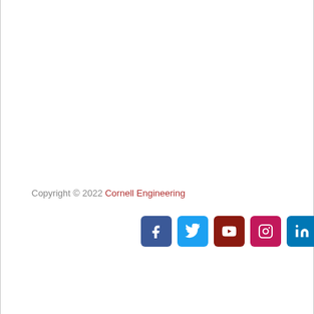Copyright © 2022 Cornell Engineering
[Figure (infographic): Social media icon buttons for Facebook, Twitter, YouTube, Instagram, and LinkedIn displayed as colored rounded squares with white SVG icons.]